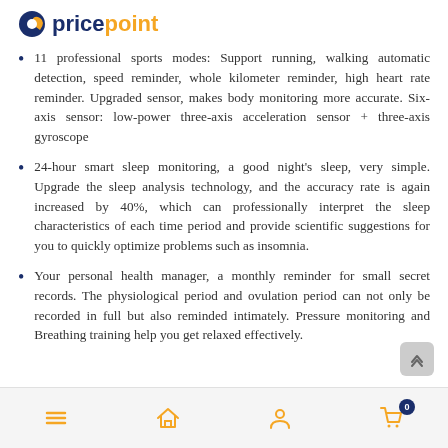pricepoint
11 professional sports modes: Support running, walking automatic detection, speed reminder, whole kilometer reminder, high heart rate reminder. Upgraded sensor, makes body monitoring more accurate. Six-axis sensor: low-power three-axis acceleration sensor + three-axis gyroscope
24-hour smart sleep monitoring, a good night's sleep, very simple. Upgrade the sleep analysis technology, and the accuracy rate is again increased by 40%, which can professionally interpret the sleep characteristics of each time period and provide scientific suggestions for you to quickly optimize problems such as insomnia.
Your personal health manager, a monthly reminder for small secret records. The physiological period and ovulation period can not only be recorded in full but also reminded intimately. Pressure monitoring and Breathing training help you get relaxed effectively.
Navigation bar with menu, home, profile, and cart (0) icons